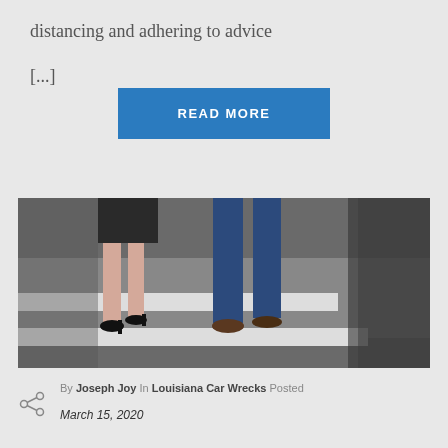distancing and adhering to advice [...]
READ MORE
[Figure (photo): Two people walking across a pedestrian crosswalk — a woman in a black skirt and high heels on the left, and a man in a blue suit on the right. Only their legs and feet are visible. The crosswalk is painted white on a dark asphalt road.]
By Joseph Joy  In Louisiana Car Wrecks  Posted
March 15, 2020